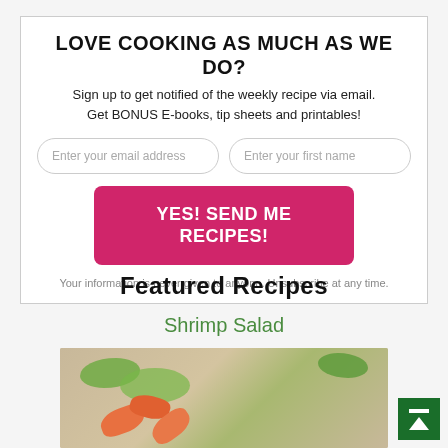LOVE COOKING AS MUCH AS WE DO?
Sign up to get notified of the weekly recipe via email. Get BONUS E-books, tip sheets and printables!
Enter your email address | Enter your first name
YES! SEND ME RECIPES!
Your information is never given to anyone. Unsubscribe at any time.
Featured Recipes
Shrimp Salad
[Figure (photo): Photo of a shrimp salad with green lettuce and shrimp on a plate]